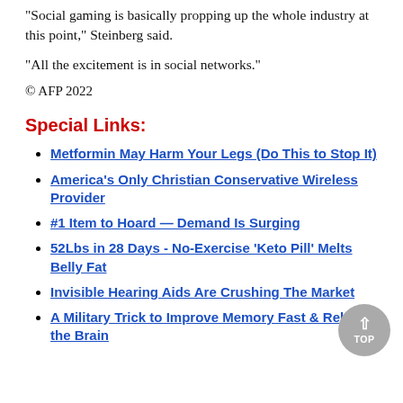"Social gaming is basically propping up the whole industry at this point," Steinberg said.
"All the excitement is in social networks."
© AFP 2022
Special Links:
Metformin May Harm Your Legs (Do This to Stop It)
America's Only Christian Conservative Wireless Provider
#1 Item to Hoard — Demand Is Surging
52Lbs in 28 Days - No-Exercise 'Keto Pill' Melts Belly Fat
Invisible Hearing Aids Are Crushing The Market
A Military Trick to Improve Memory Fast & Reboot the Brain